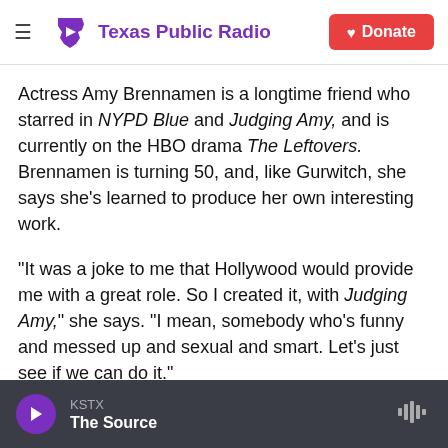Texas Public Radio | Donate
Actress Amy Brennamen is a longtime friend who starred in NYPD Blue and Judging Amy, and is currently on the HBO drama The Leftovers. Brennamen is turning 50, and, like Gurwitch, she says she's learned to produce her own interesting work.
"It was a joke to me that Hollywood would provide me with a great role. So I created it, with Judging Amy," she says. "I mean, somebody who's funny and messed up and sexual and smart. Let's just see if we can do it."
KSTX | The Source